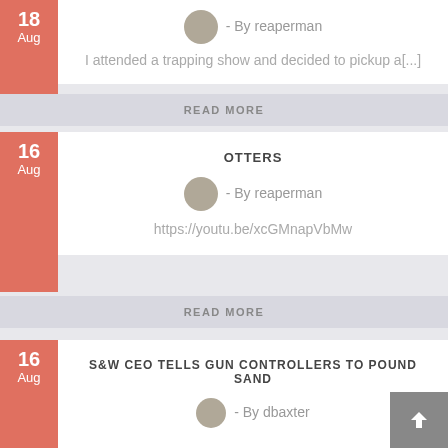- By reaperman
I attended a trapping show and decided to pickup a[...]
READ MORE
OTTERS
- By reaperman
https://youtu.be/xcGMnapVbMw
READ MORE
S&W CEO TELLS GUN CONTROLLERS TO POUND SAND
- By dbaxter